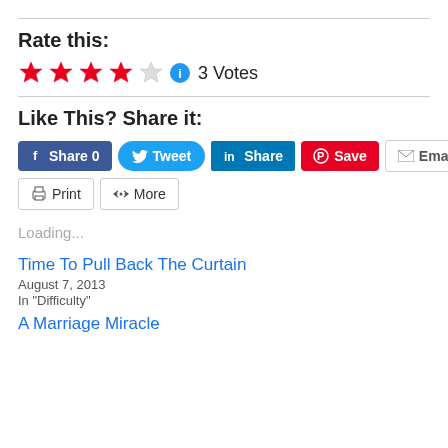Rate this:
[Figure (infographic): 4 out of 5 red stars rating widget with info icon and '3 Votes' label]
Like This? Share it:
[Figure (infographic): Social share buttons: Facebook Share 0, Tweet, LinkedIn Share, Pinterest Save, Email, Print, More]
Loading...
Time To Pull Back The Curtain
August 7, 2013
In "Difficulty"
A Marriage Miracle